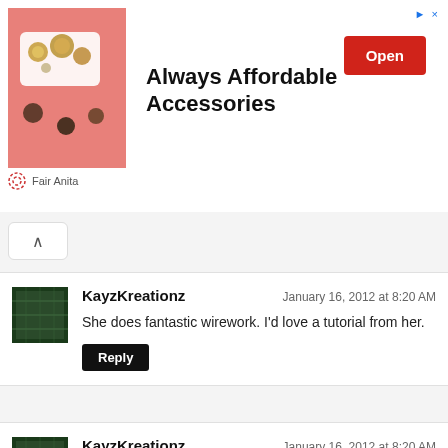[Figure (photo): Ad banner for Fair Anita showing jewelry accessories on pink background with 'Always Affordable Accessories' headline and red Open button]
KayzKreationz
January 16, 2012 at 8:20 AM
She does fantastic wirework. I'd love a tutorial from her.
Reply
KayzKreationz
January 16, 2012 at 8:20 AM
I follow your blog.
http://KayzKreationz.blogspot.com
Reply
KayzKreationz
January 16, 2012 at 8:20 AM
I'm a fan on facebook.